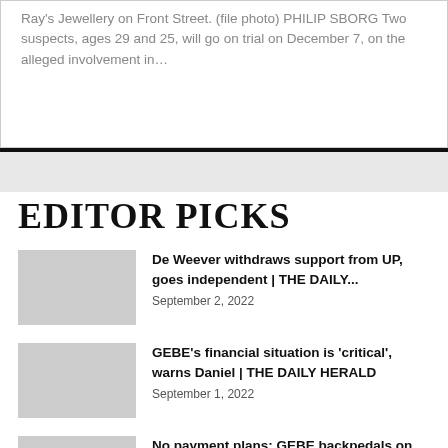Ray's Jewellery on Front Street. (file photo) PHILIP SBORG  Two suspects, ages 29 and 25, will go on trial on December 7, on the alleged involvement in…
EDITOR PICKS
De Weever withdraws support from UP, goes independent | THE DAILY…
September 2, 2022
GEBE's financial situation is 'critical', warns Daniel | THE DAILY HERALD
September 1, 2022
No payment plans: GEBE backpedals on promise to offer payment arrangements?…